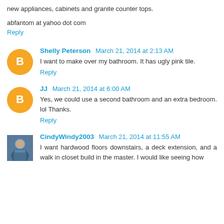new appliances, cabinets and granite counter tops.
abfantom at yahoo dot com
Reply
Shelly Peterson March 21, 2014 at 2:13 AM
I want to make over my bathroom. It has ugly pink tile.
Reply
JJ March 21, 2014 at 6:00 AM
Yes, we could use a second bathroom and an extra bedroom. lol Thanks.
Reply
CindyWindy2003 March 21, 2014 at 11:55 AM
I want hardwood floors downstairs, a deck extension, and a walk in closet build in the master. I would like seeing how